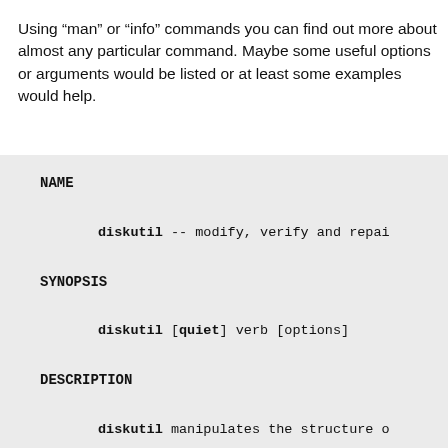Using “man” or “info” commands you can find out more about almost any particular command. Maybe some useful options or arguments would be listed or at least some examples would help.
NAME
diskutil -- modify, verify and repai
SYNOPSIS
diskutil [quiet] verb [options]
DESCRIPTION
diskutil manipulates the structure o